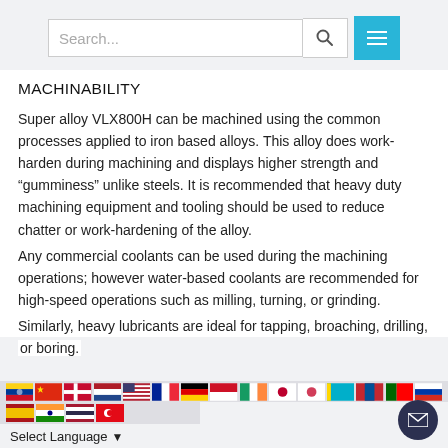Search bar and menu button
MACHINABILITY
Super alloy VLX800H can be machined using the common processes applied to iron based alloys. This alloy does work-harden during machining and displays higher strength and “gumminess” unlike steels. It is recommended that heavy duty machining equipment and tooling should be used to reduce chatter or work-hardening of the alloy.
Any commercial coolants can be used during the machining operations; however water-based coolants are recommended for high-speed operations such as milling, turning, or grinding.
Similarly, heavy lubricants are ideal for tapping, broaching, drilling, or boring.
Flags row and Select Language dropdown